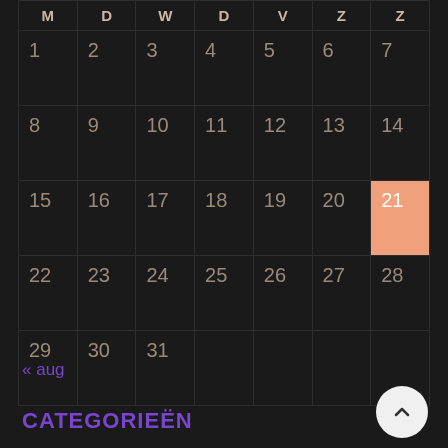| M | D | W | D | V | Z | Z |
| --- | --- | --- | --- | --- | --- | --- |
| 1 | 2 | 3 | 4 | 5 | 6 | 7 |
| 8 | 9 | 10 | 11 | 12 | 13 | 14 |
| 15 | 16 | 17 | 18 | 19 | 20 | 21 |
| 22 | 23 | 24 | 25 | 26 | 27 | 28 |
| 29 | 30 | 31 |  |  |  |  |
« aug
CATEGORIEËN